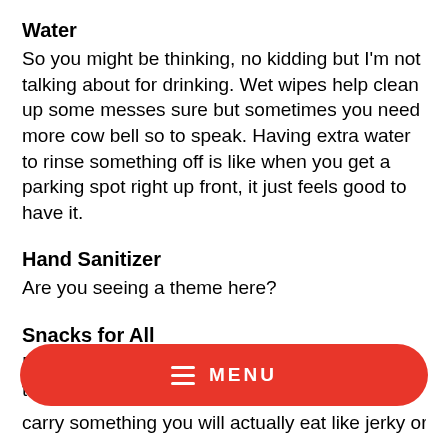Water
So you might be thinking, no kidding but I'm not talking about for drinking. Wet wipes help clean up some messes sure but sometimes you need more cow bell so to speak. Having extra water to rinse something off is like when you get a parking spot right up front, it just feels good to have it.
Hand Sanitizer
Are you seeing a theme here?
Snacks for All
Finally, something you might not have already thought of. Sure snacks for the little person is
carry something you will actually eat like jerky or